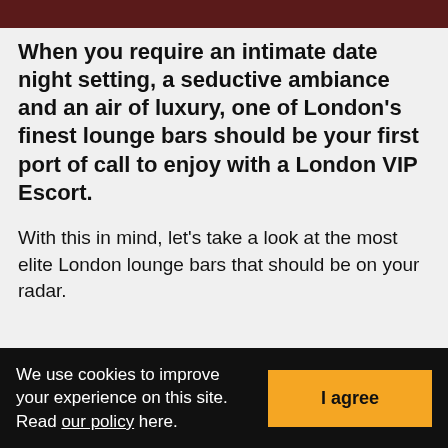[Figure (photo): Partial view of a dark red/maroon background image at the top of the page, cropped]
When you require an intimate date night setting, a seductive ambiance and an air of luxury, one of London's finest lounge bars should be your first port of call to enjoy with a London VIP Escort.
With this in mind, let's take a look at the most elite London lounge bars that should be on your radar.
We use cookies to improve your experience on this site. Read our policy here.